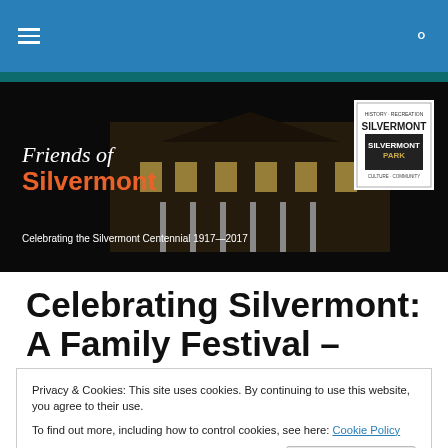Navigation bar with hamburger menu and search icon
[Figure (illustration): Friends of Silvermont banner with mansion photo, orange/white text, and Silvermont Park logo badge. Text: 'Friends of Silvermont', 'Celebrating the Silvermont Centennial 1917—2017']
Celebrating Silvermont: A Family Festival – Features Food, Music, Arts and Crafts
Privacy & Cookies: This site uses cookies. By continuing to use this website, you agree to their use.
To find out more, including how to control cookies, see here: Cookie Policy
Close and accept
[Figure (photo): Bottom strip with two small Silvermont Park logo images and time text '10am - 5pm']